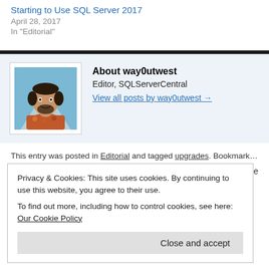Starting to Use SQL Server 2017
April 28, 2017
In "Editorial"
[Figure (photo): Author photo of way0utwest, a smiling man with dark hair and beard wearing a floral shirt, with a scenic background.]
About way0utwest
Editor, SQLServerCentral
View all posts by way0utwest →
This entry was posted in Editorial and tagged upgrades. Bookmark the perma
← Daily Coping 16 Aug 2021
Become
Privacy & Cookies: This site uses cookies. By continuing to use this website, you agree to their use.
To find out more, including how to control cookies, see here: Our Cookie Policy
Close and accept